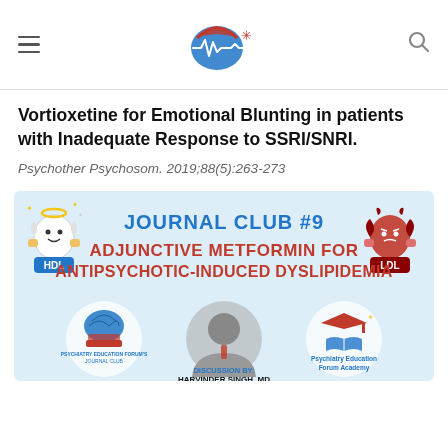Navigation bar with hamburger menu, site logo, and search icon
Vortioxetine for Emotional Blunting in patients with Inadequate Response to SSRI/SNRI.
Psychother Psychosom. 2019;88(5):263-273
[Figure (infographic): Journal Club #9 banner for Adjunctive Metformin for Antipsychotic-Induced Dyslipidemia, featuring HDL mascot (friendly angel character), LDL mascot (red devil character), a Psychiatry Education Forum brain/book logo, a photo of Dr. Harvinder Singh MD, and Psychiatry Education Forum Academy logo. Discussion by: Harvinder Singh, MD.]